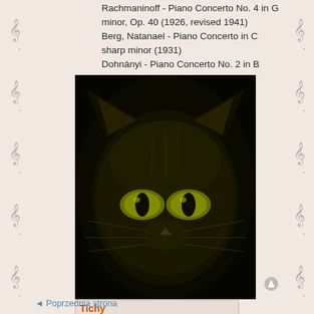Rachmaninoff - Piano Concerto No. 4 in G minor, Op. 40 (1926, revised 1941)
Berg, Natanael - Piano Concerto in C sharp minor (1931)
Dohnányi - Piano Concerto No. 2 in B minor, Op. 42 (1947)
[Figure (photo): Dark photo of a cat face with glowing yellow-green eyes against a black background]
Tichy
Słuchacz
Posty: 37
Płeć:
mężczyzna
◄ Poprzednia strona